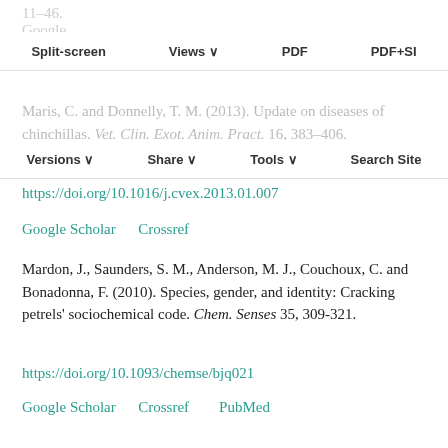11–46.
Google Scholar
Split-screen  Views  PDF  PDF+SI
Maris, C. and Donnelly, T. M. (2013). Update on diseases of chinchillas. Vet. Clin. Exot. Anim. Pract. 16, 383–406. https://doi.org/10.1016/j.cvex.2013.01.007
Versions  Share  Tools  Search Site
Google Scholar  Crossref
Mardon, J., Saunders, S. M., Anderson, M. J., Couchoux, C. and Bonadonna, F. (2010). Species, gender, and identity: Cracking petrels' sociochemical code. Chem. Senses 35, 309-321. https://doi.org/10.1093/chemse/bjq021
Google Scholar  Crossref  PubMed
Marjanovic, N. D., Weinberg, R. A. and Chaffer, C. L. (2012). Cell plasticity and heterogeneity in cancer. Clinical Chemistry 59, 168–179.
This site uses cookies. By continuing to use our website, you are agreeing to our privacy policy. Accept
Matsumura, K., Opiekun, M., Oka, H., Vachani, A.,